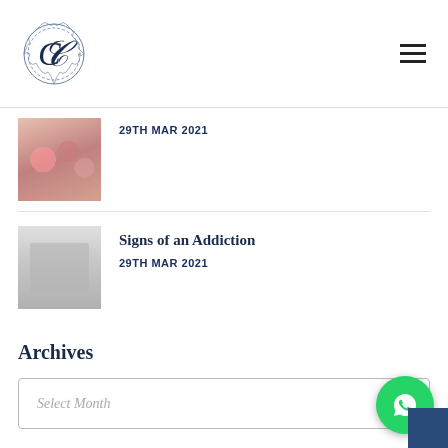C logo and navigation menu
[Figure (photo): Thumbnail photo of people sitting in a group setting]
29TH MAR 2021
[Figure (photo): Black and white thumbnail photo of people sitting at a dining table]
Signs of an Addiction
29TH MAR 2021
Archives
Select Month